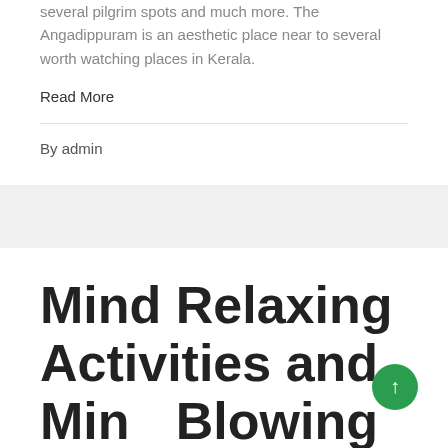several pilgrim spots and much more. The Angadippuram is an aesthetic place near to several worth watching places in Kerala.
Read More
By admin
Mind Relaxing Activities and Mind Blowing Beauty of